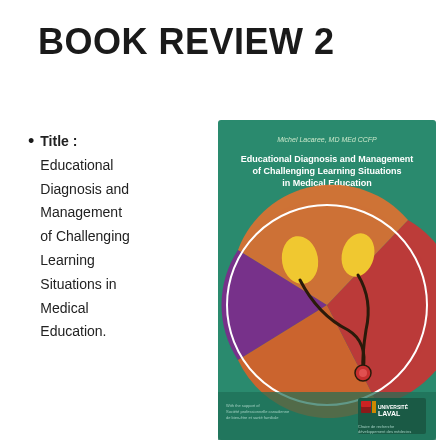BOOK REVIEW 2
Title : Educational Diagnosis and Management of Challenging Learning Situations in Medical Education.
[Figure (photo): Book cover of 'Educational Diagnosis and Management of Challenging Learning Situations in Medical Education' by Michel Lacaree, MD MEd CCFP, published with Université Laval. Green cover with circular diagram showing interlocking shapes in purple, orange, and red with yellow oval elements.]